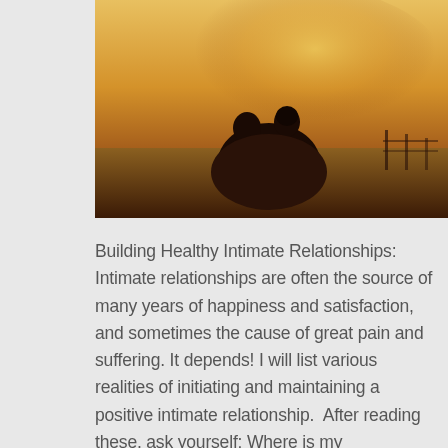[Figure (photo): Two people sitting together wrapped in a blanket, silhouetted against a warm golden sunset in a field]
Building Healthy Intimate Relationships: Intimate relationships are often the source of many years of happiness and satisfaction, and sometimes the cause of great pain and suffering. It depends! I will list various realities of initiating and maintaining a positive intimate relationship. After reading these, ask yourself: Where is my relationship? If you are unhappy, do [...]
[Figure (other): Word cloud containing mental health and emotion related words such as stress, fear, emotion, scared, depression, psychosis, trauma, disorder, personality, and others in various sizes and colors including red and brown]